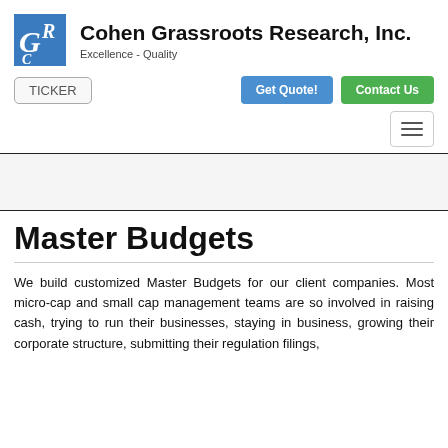Cohen Grassroots Research, Inc. — Excellence - Quality
Master Budgets
We build customized Master Budgets for our client companies. Most micro-cap and small cap management teams are so involved in raising cash, trying to run their businesses, staying in business, growing their corporate structure, submitting their regulation filings,